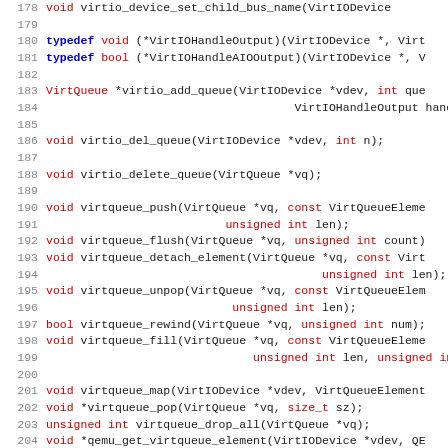Source code listing showing C function declarations for VirtIO/VirtQueue API, lines 178-210